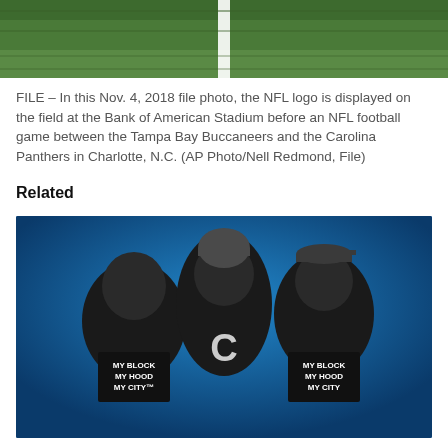[Figure (photo): Aerial view of an NFL football field showing green turf with a white yard line marking, cropped at top of page]
FILE – In this Nov. 4, 2018 file photo, the NFL logo is displayed on the field at the Bank of American Stadium before an NFL football game between the Tampa Bay Buccaneers and the Carolina Panthers in Charlotte, N.C. (AP Photo/Nell Redmond, File)
Related
[Figure (photo): Three young men wearing black hoodies that say 'MY BLOCK MY HOOD MY CITY', posed against a blue background. Black and white photo.]
NFL's Inspire Change donates $6.5 million